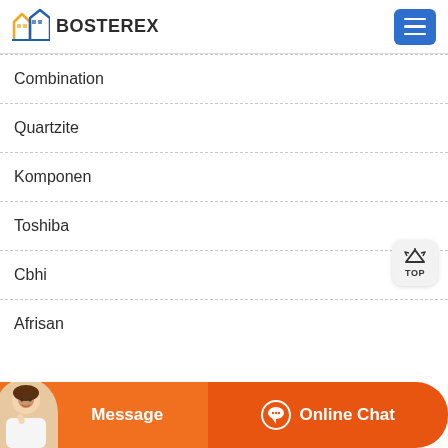BOSTEREX
Combination
Quartzite
Komponen
Toshiba
Cbhi
Afrisan